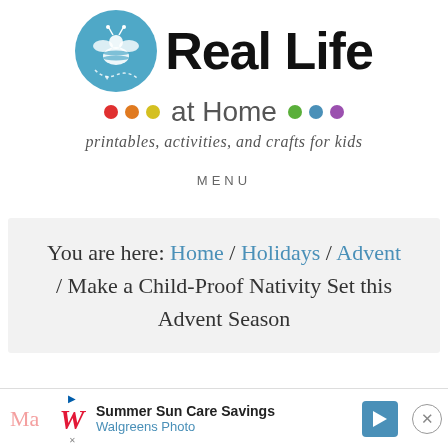[Figure (logo): Real Life at Home logo: blue circle with bee illustration, bold 'Real Life' text, colored dots row with 'at Home' text, tagline 'printables, activities, and crafts for kids']
MENU
You are here: Home / Holidays / Advent / Make a Child-Proof Nativity Set this Advent Season
[Figure (screenshot): Advertisement bar: Walgreens Photo - Summer Sun Care Savings ad with close button]